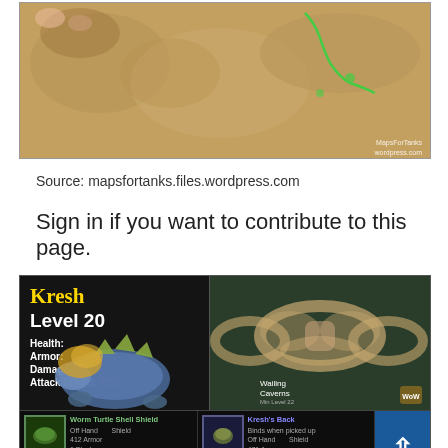[Figure (map): Game map screenshot showing a dungeon/zone map with green path markers and watermark 'MapsForTanks wordpress.com']
Source: mapsfortanks.files.wordpress.com
Sign in if you want to contribute to this page.
[Figure (screenshot): World of Warcraft game screenshot showing boss info panel for Kresh, Level 20, with stats (Health, Armor, Damage, Attack Speed: TBD), a dungeon map of Wailing Caverns, and loot items including Worm Turtle Shell Shield (90% drop) and Kresh's Back (10% drop)]